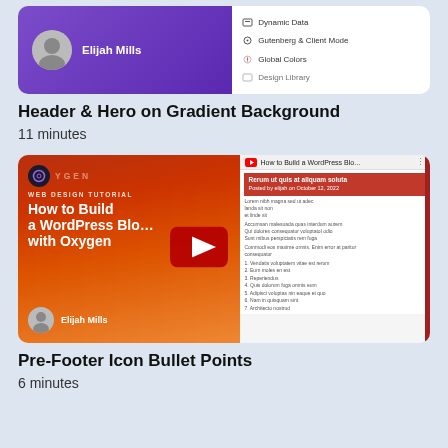[Figure (screenshot): Video thumbnail showing Elijah Mills header on purple gradient background with a white menu panel showing Dynamic Data, Gutenberg & Client Mode, Global Colors, Design Library]
Header & Hero on Gradient Background
11 minutes
[Figure (screenshot): YouTube video thumbnail for 'How to Build a WordPress Blog with Oxygen' by Elijah Mills, showing Oxygen web design tutorial on orange-red gradient background with blog preview on the right and a YouTube play button overlay]
Pre-Footer Icon Bullet Points
6 minutes